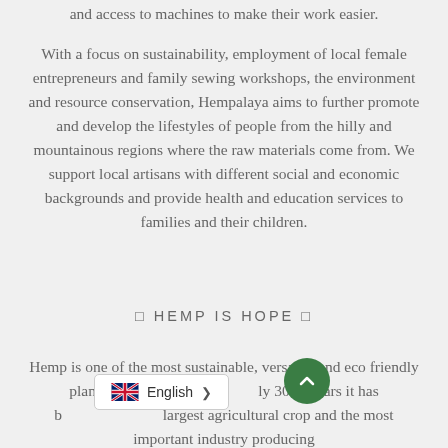and access to machines to make their work easier.
With a focus on sustainability, employment of local female entrepreneurs and family sewing workshops, the environment and resource conservation, Hempalaya aims to further promote and develop the lifestyles of people from the hilly and mountainous regions where the raw materials come from. We support local artisans with different social and economic backgrounds and provide health and education services to families and their children.
⬡ HEMP IS HOPE ⬡
Hemp is one of the most sustainable, versatile and eco friendly plant in this world. For nearly 3000 years it has been the largest agricultural crop and the most important industry producing
English